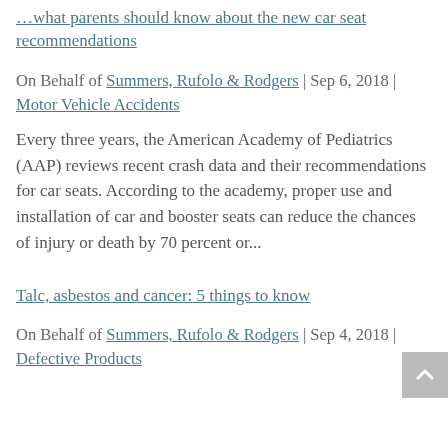...what parents should know about the new car seat recommendations
On Behalf of Summers, Rufolo & Rodgers | Sep 6, 2018 | Motor Vehicle Accidents
Every three years, the American Academy of Pediatrics (AAP) reviews recent crash data and their recommendations for car seats. According to the academy, proper use and installation of car and booster seats can reduce the chances of injury or death by 70 percent or...
Talc, asbestos and cancer: 5 things to know
On Behalf of Summers, Rufolo & Rodgers | Sep 4, 2018 | Defective Products